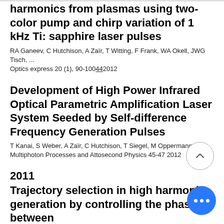harmonics from plasmas using two-color pump and chirp variation of 1 kHz Ti: sapphire laser pulses
RA Ganeev, C Hutchison, A Zaïr, T Witting, F Frank, WA Okell, JWG Tisch, ...
Optics express 20 (1), 90-100 44 2012
Development of High Power Infrared Optical Parametric Amplification Laser System Seeded by Self-difference Frequency Generation Pulses
T Kanai, S Weber, A Zaïr, C Hutchison, T Siegel, M Oppermann, ...
Multiphoton Processes and Attosecond Physics 45-47 2012
2011
Trajectory selection in high harmonic generation by controlling the phase between